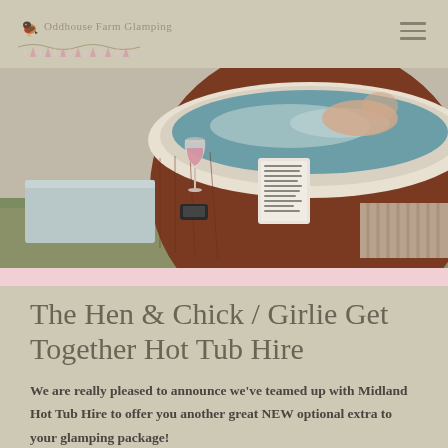Oddhouse Farm Glamping
[Figure (photo): Close-up photo of a wooden hot tub with white rim, bubbling water, a wine glass with a pink drink, and a laminated card on the side, outdoors on grass with a striped mat.]
The Hen & Chick / Girlie Get Together Hot Tub Hire
We are really pleased to announce we've teamed up with Midland Hot Tub Hire to offer you another great NEW optional extra to your glamping package!